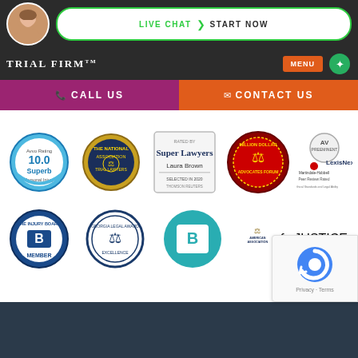Trial Firm - Live Chat | Start Now | Menu | Call Us | Contact Us
[Figure (logo): Avvo Rating 10.0 Superb Personal Injury badge]
[Figure (logo): The National Association Trial Lawyers badge]
[Figure (logo): Super Lawyers Laura Brown Selected in 2020 Thomson Reuters badge]
[Figure (logo): Million Dollar Advocates Forum badge]
[Figure (logo): LexisNexis Martindale-Hubbell Peer Review Rated badge]
[Figure (logo): The Injury Board Member badge]
[Figure (logo): Georgia Legal Award badge]
[Figure (logo): Letter B in teal circle logo]
[Figure (logo): American Association for Justice badge]
[Figure (other): reCAPTCHA widget]